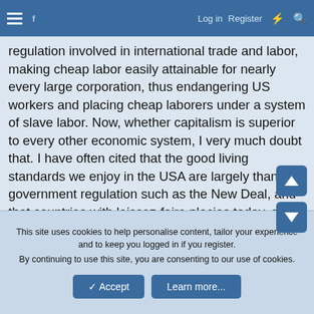≡  [site logo]  Log in  Register  ⚡  🔍
regulation involved in international trade and labor, making cheap labor easily attainable for nearly every large corporation, thus endangering US workers and placing cheap laborers under a system of slave labor. Now, whether capitalism is superior to every other economic system, I very much doubt that. I have often cited that the good living standards we enjoy in the USA are largely thanks to government regulation such as the New Deal, and that countries with laissez-faire plocies today, such as China, more and more, and Argentina, have very poor labor conditions. To think that capitalism can sustain itself without government regulation is quite dangerous, and devoid of any knowledge of history. But is capitalism the best that man can possibly do? I highly doubt it. Democratic socialism has never really been seriously attempted. It would involve the people actually democratically owning their own economy, rather than very few
This site uses cookies to help personalise content, tailor your experience and to keep you logged in if you register.
By continuing to use this site, you are consenting to our use of cookies.
✓ Accept    Learn more...